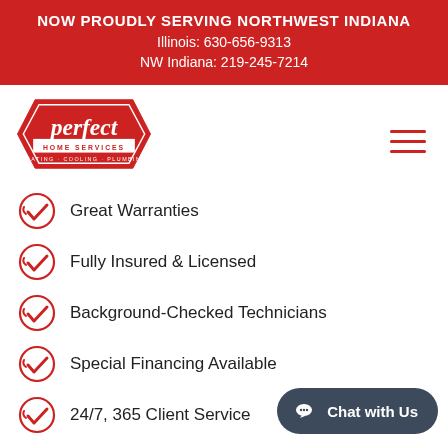NOW PROUDLY SERVING NORTHWEST INDIANA
Illinois: 630-656-9313
NW Indiana: 219-245-7214
[Figure (logo): Perfect Home Services logo — red hexagonal badge shape with 'perfect' in white script, 'HOME SERVICES' in white small caps, 'HEATING · COOLING · PLUMBING' in red on white strip]
Great Warranties
Fully Insured & Licensed
Background-Checked Technicians
Special Financing Available
24/7, 365 Client Service
Sump Pump Installation Services
A sump pump can play an esse...
protecting your home from water damage